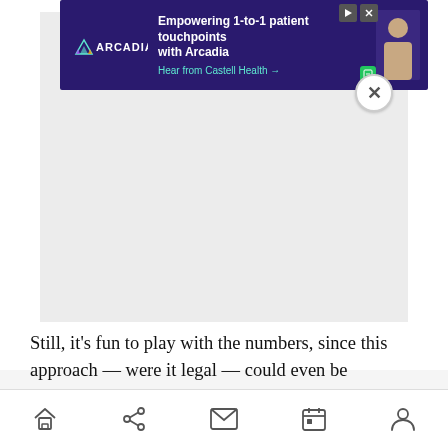[Figure (screenshot): Advertisement banner for Arcadia: 'Empowering 1-to-1 patient touchpoints with Arcadia. Hear from Castell Health →' with close button]
Still, it's fun to play with the numbers, since this approach — were it legal — could even be profitable. IBS estimates that each system will cost $250,000 to $275,000, or just $3.4 million for the dozen. It's a fascinating indication of just how fast the whole genomics revolution is moving.
Home | Share | Mail | Calendar | Account